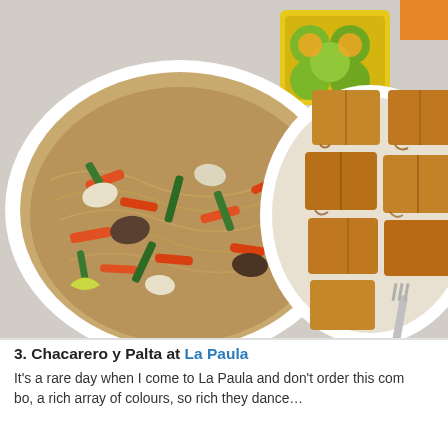[Figure (photo): Overhead view of two white plates of food on a tablecloth. Left plate has pancit (noodles) with carrots, green beans, and garnishes. Right plate has golden-brown fried tofu or rice cake squares with a fork. A yellow container with calamansi (small citrus) sits in the background.]
3. Chacarero y Palta at La Paula
It's a rare day when I come to La Paula and don't order this combo, a rich array of colours, so rich they dance...